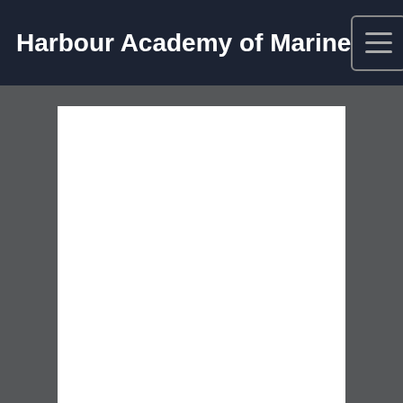Harbour Academy of Marine
[Figure (screenshot): White content area/main body placeholder on dark grey background]